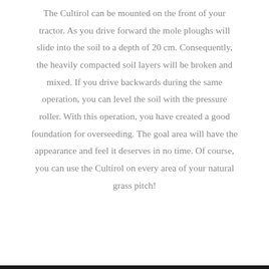The Cultirol can be mounted on the front of your tractor. As you drive forward the mole ploughs will slide into the soil to a depth of 20 cm. Consequently, the heavily compacted soil layers will be broken and mixed. If you drive backwards during the same operation, you can level the soil with the pressure roller. With this operation, you have created a good foundation for overseeding. The goal area will have the appearance and feel it deserves in no time. Of course, you can use the Cultirol on every area of your natural grass pitch!